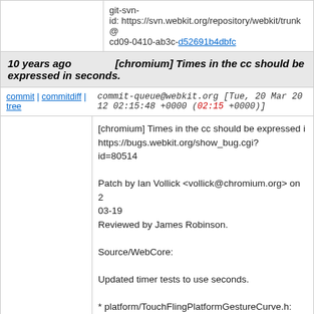git-svn-id: https://svn.webkit.org/repository/webkit/trunk@ cd09-0410-ab3c-d52691b4dbfc
10 years ago [chromium] Times in the cc should be expressed in seconds.
commit | commitdiff | tree   commit-queue@webkit.org [Tue, 20 Mar 2012 02:15:48 +0000 (02:15 +0000)]
[chromium] Times in the cc should be expressed i... https://bugs.webkit.org/show_bug.cgi?id=80514

Patch by Ian Vollick <vollick@chromium.org> on 2... 03-19
Reviewed by James Robinson.

Source/WebCore:

Updated timer tests to use seconds.

* platform/TouchFlingPlatformGestureCurve.h: (TouchFlingPlatformGestureCurve):
* platform/graphics/chromium/cc/CCActiveGesture... (WebCore::CCActiveGestureAnimation::animate):
* platform/graphics/chromium/cc/CCActiveGesture... (CCActiveGestureAnimation):